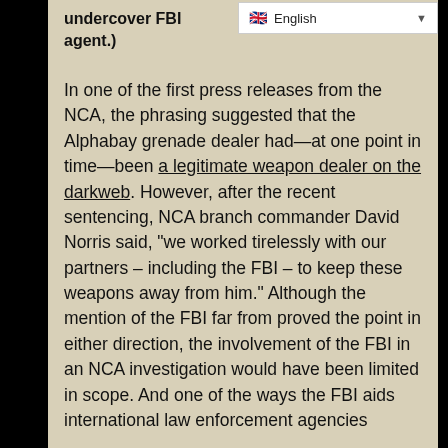undercover FBI agent.)
[Figure (screenshot): Language selector dropdown showing UK flag and 'English' text with dropdown arrow]
In one of the first press releases from the NCA, the phrasing suggested that the Alphabay grenade dealer had—at one point in time—been a legitimate weapon dealer on the darkweb. However, after the recent sentencing, NCA branch commander David Norris said, “we worked tirelessly with our partners – including the FBI – to keep these weapons away from him.” Although the mention of the FBI far from proved the point in either direction, the involvement of the FBI in an NCA investigation would have been limited in scope. And one of the ways the FBI aids international law enforcement agencies